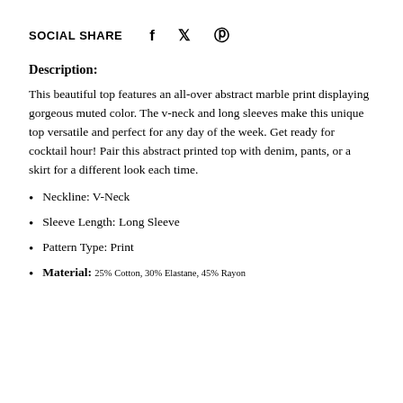SOCIAL SHARE f ♥ ⊕
Description:
This beautiful top features an all-over abstract marble print displaying gorgeous muted color. The v-neck and long sleeves make this unique top versatile and perfect for any day of the week. Get ready for cocktail hour! Pair this abstract printed top with denim, pants, or a skirt for a different look each time.
Neckline: V-Neck
Sleeve Length: Long Sleeve
Pattern Type: Print
Material: 25% Cotton, 30% Elastane, 45% Rayon